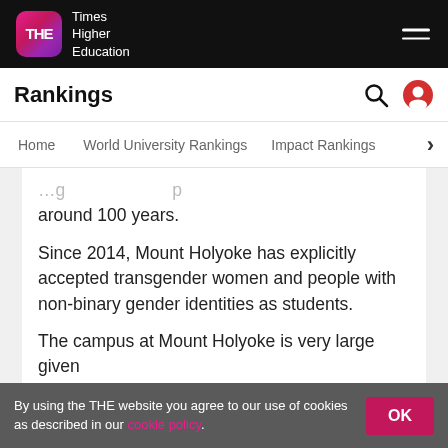THE Times Higher Education
Rankings
Home | World University Rankings | Impact Rankings
around 100 years.
Since 2014, Mount Holyoke has explicitly accepted transgender women and people with non-binary gender identities as students.
The campus at Mount Holyoke is very large given
Read more
By using the THE website you agree to our use of cookies as described in our cookie policy.